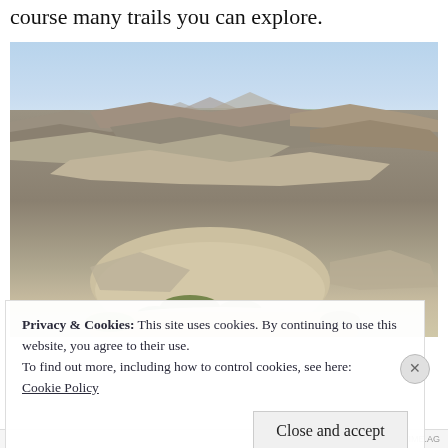course many trails you can explore.
[Figure (photo): Landscape photo of the Badlands National Park showing dramatic eroded rock formations with layered ridges, sparse vegetation in the foreground, and a pale blue sky in the background.]
Privacy & Cookies: This site uses cookies. By continuing to use this website, you agree to their use.
To find out more, including how to control cookies, see here:
Cookie Policy
Close and accept